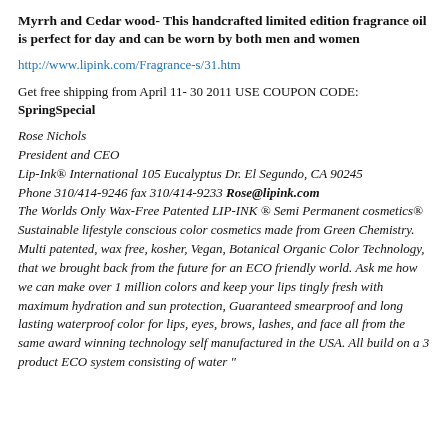Myrrh and Cedar wood- This handcrafted limited edition fragrance oil is perfect for day and can be worn by both men and women
http://www.lipink.com/Fragrance-s/31.htm
Get free shipping from April 11- 30 2011 USE COUPON CODE: SpringSpecial
Rose Nichols
President and CEO
Lip-Ink® International 105 Eucalyptus Dr. El Segundo, CA 90245
Phone 310/414-9246 fax 310/414-9233 Rose@lipink.com
The Worlds Only Wax-Free Patented LIP-INK ® Semi Permanent cosmetics® Sustainable lifestyle conscious color cosmetics made from Green Chemistry. Multi patented, wax free, kosher, Vegan, Botanical Organic Color Technology, that we brought back from the future for an ECO friendly world. Ask me how we can make over 1 million colors and keep your lips tingly fresh with maximum hydration and sun protection, Guaranteed smearproof and long lasting waterproof color for lips, eyes, brows, lashes, and face all from the same award winning technology self manufactured in the USA. All build on a 3 product ECO system consisting of water "